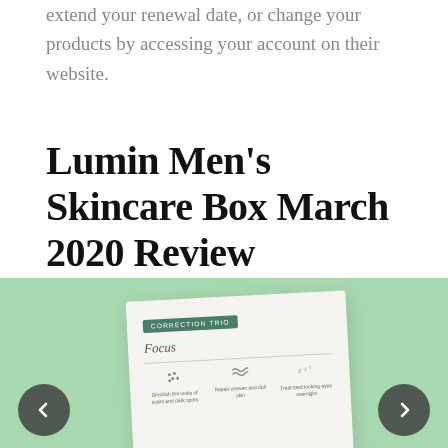extend your renewal date, or change your products by accessing your account on their website.
Lumin Men's Skincare Box March 2020 Review
[Figure (photo): A light green background with a tilted card showing 'CORRECTION TRIO' badge, Focus heading, and three skincare icons with captions: Diminish the looks of scars and dark spots, Repair uneven and dull skin, Treat tired looking eyes overnight. Navigation arrows on left and right.]